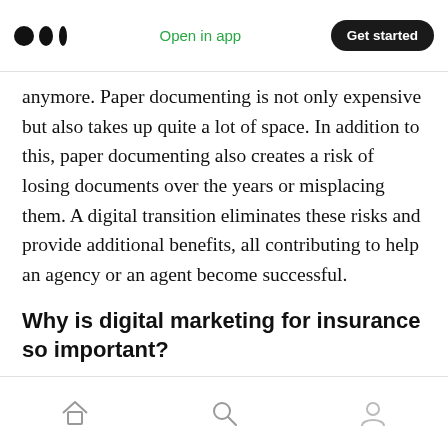Open in app | Get started
anymore. Paper documenting is not only expensive but also takes up quite a lot of space. In addition to this, paper documenting also creates a risk of losing documents over the years or misplacing them. A digital transition eliminates these risks and provide additional benefits, all contributing to help an agency or an agent become successful.
Why is digital marketing for insurance so important?
The trend of outdoor activities is slowly declining
Home | Search | Profile